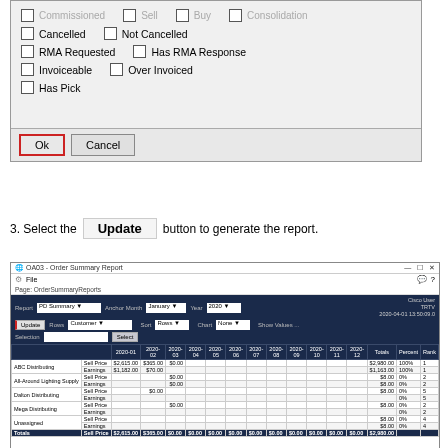[Figure (screenshot): Dialog box with checkboxes: Commissioned, Sell, Buy, Consolidation (top, partially cut off); Cancelled, Not Cancelled; RMA Requested, Has RMA Response; Invoiceable, Over Invoiced; Has Pick. Footer with Ok (red border) and Cancel buttons.]
3. Select the Update button to generate the report.
[Figure (screenshot): OA03 - Order Summary Report application window showing PD Summary report with Update button (red left border), filter options for Customer sort, Row, Chart None, Show Values, and a data table with columns for months 2020-01 through 2020-12, Totals, Percent, Rank. Rows include ABC Distributing, All-Around Lighting Supply, Dalton Distributing, Mega Distributing, Unassigned, Totals with Sell Price and Earnings sub-rows.]